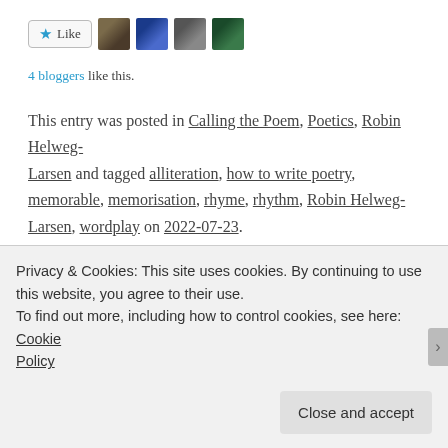[Figure (other): Like button with star icon and four blogger avatar thumbnails]
4 bloggers like this.
This entry was posted in Calling the Poem, Poetics, Robin Helweg-Larsen and tagged alliteration, how to write poetry, memorable, memorisation, rhyme, rhythm, Robin Helweg-Larsen, wordplay on 2022-07-23.
Review: ‘By Heart – 101 poems to
Privacy & Cookies: This site uses cookies. By continuing to use this website, you agree to their use.
To find out more, including how to control cookies, see here: Cookie Policy